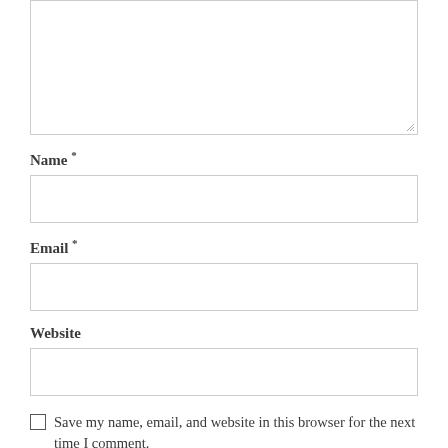[Figure (other): A large text input/textarea form field (comment box) with a resize handle in the bottom-right corner]
Name *
[Figure (other): A single-line text input field for Name]
Email *
[Figure (other): A single-line text input field for Email]
Website
[Figure (other): A single-line text input field for Website]
Save my name, email, and website in this browser for the next time I comment.